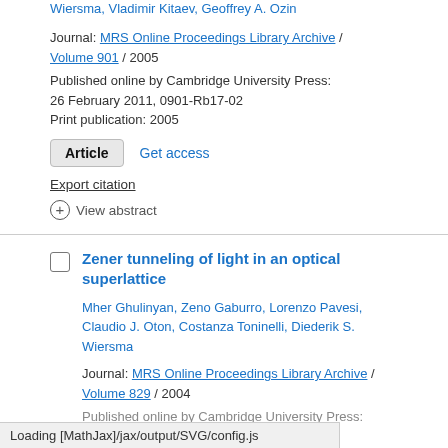Wiersma, Vladimir Kitaev, Geoffrey A. Ozin
Journal: MRS Online Proceedings Library Archive / Volume 901 / 2005
Published online by Cambridge University Press: 26 February 2011, 0901-Rb17-02
Print publication: 2005
Article  Get access
Export citation
View abstract
Zener tunneling of light in an optical superlattice
Mher Ghulinyan, Zeno Gaburro, Lorenzo Pavesi, Claudio J. Oton, Costanza Toninelli, Diederik S. Wiersma
Journal: MRS Online Proceedings Library Archive / Volume 829 / 2004
Published online by Cambridge University Press:
Loading [MathJax]/jax/output/SVG/config.js